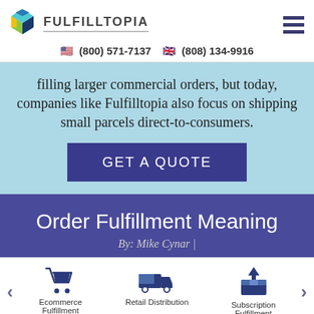[Figure (logo): Fulfilltopia logo: colorful geometric box shape with teal, navy, green, and yellow facets, next to the text FULFILLTOPIA in bold caps]
(800) 571-7137   (808) 134-9916
filling larger commercial orders, but today, companies like Fulfilltopia also focus on shipping small parcels direct-to-consumers.
GET A QUOTE
Order Fulfillment Meaning
By: Mike Cynar |
[Figure (illustration): Shopping cart icon in dark navy blue]
Ecommerce Fulfillment
[Figure (illustration): Delivery truck icon in dark navy blue]
Retail Distribution
[Figure (illustration): Open box with arrow pointing up, icon in dark navy blue]
Subscription Fulfillment